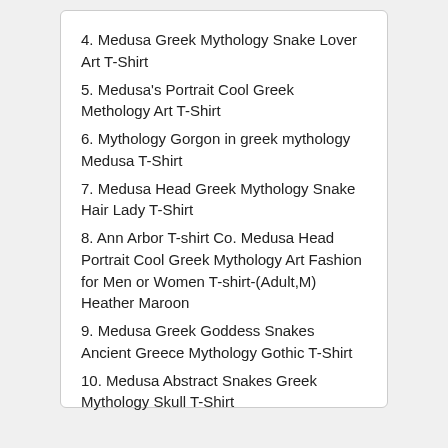4. Medusa Greek Mythology Snake Lover Art T-Shirt
5. Medusa's Portrait Cool Greek Methology Art T-Shirt
6. Mythology Gorgon in greek mythology Medusa T-Shirt
7. Medusa Head Greek Mythology Snake Hair Lady T-Shirt
8. Ann Arbor T-shirt Co. Medusa Head Portrait Cool Greek Mythology Art Fashion for Men or Women T-shirt-(Adult,M) Heather Maroon
9. Medusa Greek Goddess Snakes Ancient Greece Mythology Gothic T-Shirt
10. Medusa Abstract Snakes Greek Mythology Skull T-Shirt